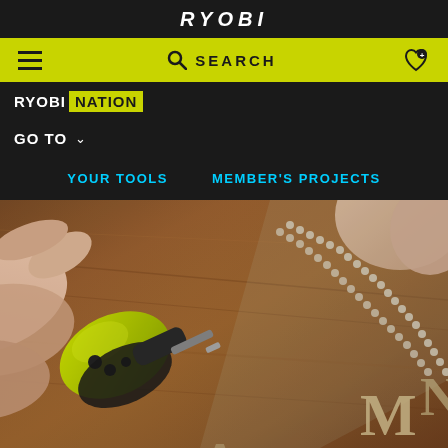RYOBI
SEARCH
RYOBI NATION
GO TO
YOUR TOOLS   MEMBER'S PROJECTS
[Figure (photo): Close-up photo of a person using a RYOBI rotary tool (lime green and black) to engrave or trace letters on a wooden surface using a stencil template. The stencil has a scalloped/perforated edge. Letters visible on the wood surface.]